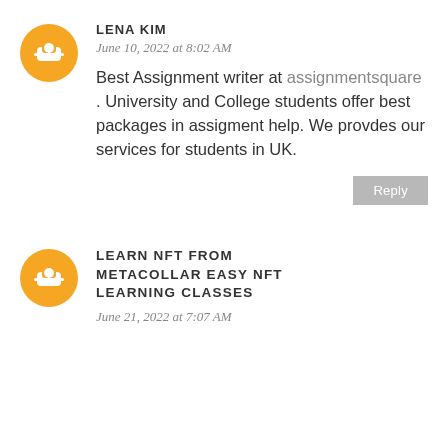LENA KIM
June 10, 2022 at 8:02 AM
Best Assignment writer at assignmentsquare . University and College students offer best packages in assigment help. We provdes our services for students in UK.
Reply
LEARN NFT FROM METACOLLAR EASY NFT LEARNING CLASSES
June 21, 2022 at 7:07 AM